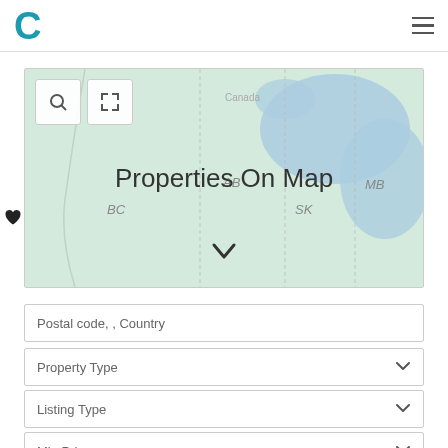C [logo] ≡ [menu]
[Figure (map): Canada map showing provinces BC, AB, SK, MB with water bodies. Overlaid text: 'Properties On Map' with search and expand controls.]
Postal code, , Country
Property Type
Listing Type
Min Price